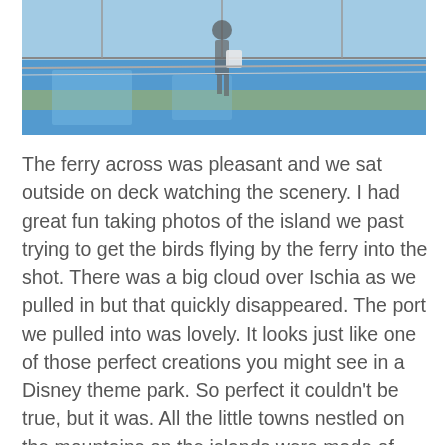[Figure (photo): A person with a white bag walking on a blue and yellow tiled floor, likely inside a ferry terminal or similar building. Glass windows visible in background.]
The ferry across was pleasant and we sat outside on deck watching the scenery. I had great fun taking photos of the island we past trying to get the birds flying by the ferry into the shot. There was a big cloud over Ischia as we pulled in but that quickly disappeared. The port we pulled into was lovely. It looks just like one of those perfect creations you might see in a Disney theme park. So perfect it couldn't be true, but it was. All the little towns nestled on the mountains on the islands were made of candy coloured houses that looked like they were built on each other. We found somewhere to pull in to unload the bike and Kyle discovered that the chain lube he packed, had leaked all into his bag. Thank heaven for kitchen roll I say. If you know Kyle at all then you will know that this has upset him no end (putting it mildly), but I could say with all honesty that I hadn't touched it